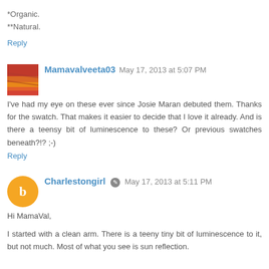*Organic.
**Natural.
Reply
Mamavalveeta03  May 17, 2013 at 5:07 PM
I've had my eye on these ever since Josie Maran debuted them. Thanks for the swatch. That makes it easier to decide that I love it already. And is there a teensy bit of luminescence to these? Or previous swatches beneath?!? ;-)
Reply
Charlestongirl  May 17, 2013 at 5:11 PM
Hi MamaVal,
I started with a clean arm. There is a teeny tiny bit of luminescence to it, but not much. Most of what you see is sun reflection.